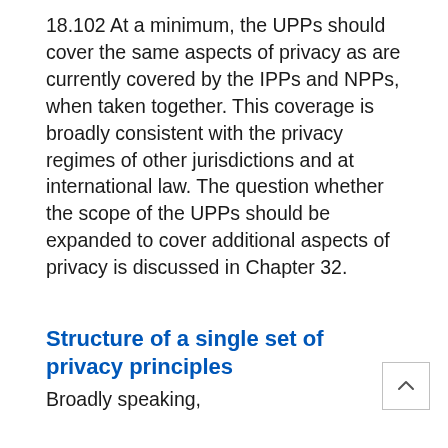18.102 At a minimum, the UPPs should cover the same aspects of privacy as are currently covered by the IPPs and NPPs, when taken together. This coverage is broadly consistent with the privacy regimes of other jurisdictions and at international law. The question whether the scope of the UPPs should be expanded to cover additional aspects of privacy is discussed in Chapter 32.
Structure of a single set of privacy principles
Broadly speaking, ...